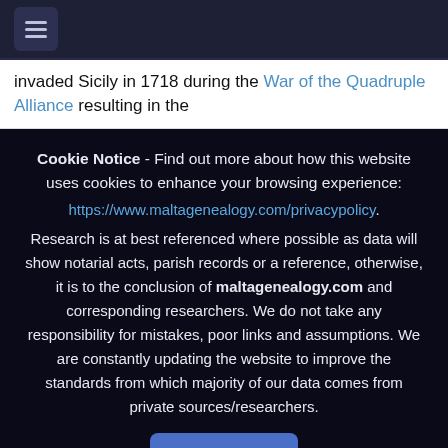☰ (navigation menu button)
invaded Sicily in 1718 during the War of the Quadruple Alliance resulting in the
Cookie Notice - Find out more about how this website uses cookies to enhance your browsing experience: https://www.maltagenealogy.com/privacypolicy. Research is at best referenced where possible as data will show notarial acts, parish records or a reference, otherwise, it is to the conclusion of maltagenealogy.com and corresponding researchers. We do not take any responsibility for mistakes, poor links and assumptions. We are constantly updating the website to improve the standards from which majority of our data comes from private sources/researchers.
Accept